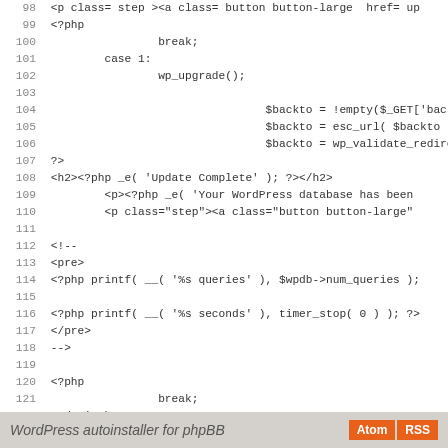Code listing lines 98-126 showing PHP/HTML source code for WordPress upgrade script
WordPress autoinstaller for phpBB  [Atom] [RSS]